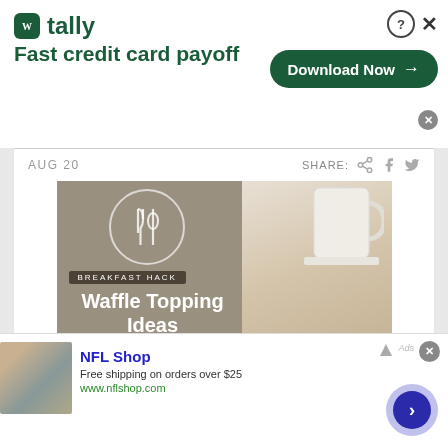[Figure (screenshot): Tally app advertisement banner with green logo, tagline 'Fast credit card payoff', and a 'Download Now' button]
AUG 20
SHARE:
[Figure (infographic): Breakfast Hack - Waffle Topping Ideas card with fork/spoon icon, yellow band listing: Cottage cheese + blueberries, Greek yogurt + sliced bananas, faded items: Peanut butter + sliced apples, Chocolate hummus + strawberries. Plus button and chevron. Food photo of waffle with blueberries and cream.]
[Figure (screenshot): NFL Shop advertisement: Free shipping on orders over $25, www.nflshop.com, with a navigation arrow button]